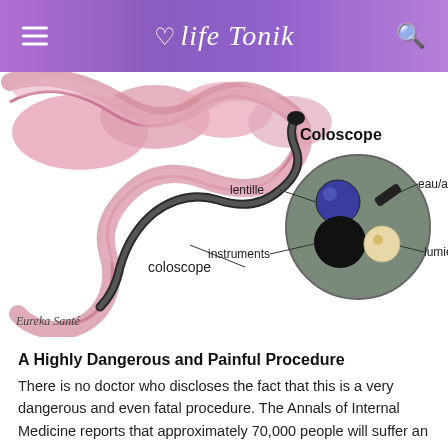life Tonik
[Figure (illustration): Medical illustration of a colonoscope inserted into the large intestine (shown in pink). On the right is a cross-section diagram of the colonoscope tip labeled 'Coloscope' with parts labeled: lentille (lens, blue circle), eau/air (water/air, dark diagonal element), instruments (large black circle), and lumière (light, beige/cream circle).]
Eureka Santé
A Highly Dangerous and Painful Procedure
There is no doctor who discloses the fact that this is a very dangerous and even fatal procedure. The Annals of Internal Medicine reports that approximately 70,000 people will suffer an